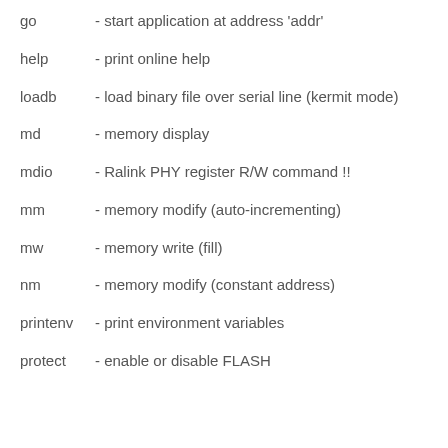go      - start application at address 'addr'
help    - print online help
loadb   - load binary file over serial line (kermit mode)
md      - memory display
mdio   - Ralink PHY register R/W command !!
mm      - memory modify (auto-incrementing)
mw      - memory write (fill)
nm      - memory modify (constant address)
printenv- print environment variables
protect - enable or disable FLASH